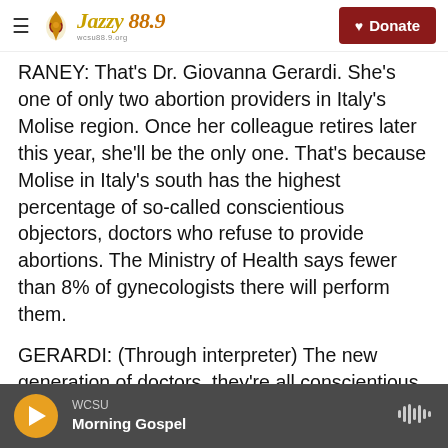Jazzy 88.9 | Donate
RANEY: That's Dr. Giovanna Gerardi. She's one of only two abortion providers in Italy's Molise region. Once her colleague retires later this year, she'll be the only one. That's because Molise in Italy's south has the highest percentage of so-called conscientious objectors, doctors who refuse to provide abortions. The Ministry of Health says fewer than 8% of gynecologists there will perform them.
GERARDI: (Through interpreter) The new generation of doctors, they're all conscientious objectors. Pretty soon, there won't be any doctors
WCSU | Morning Gospel